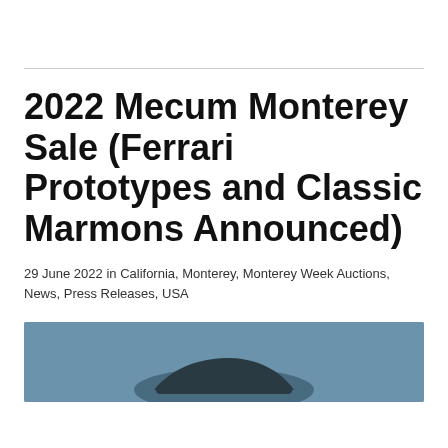2022 Mecum Monterey Sale (Ferrari Prototypes and Classic Marmons Announced)
29 June 2022 in California, Monterey, Monterey Week Auctions, News, Press Releases, USA
[Figure (photo): Partial view of a car against a steel blue background, showing the top/roof of a vehicle]